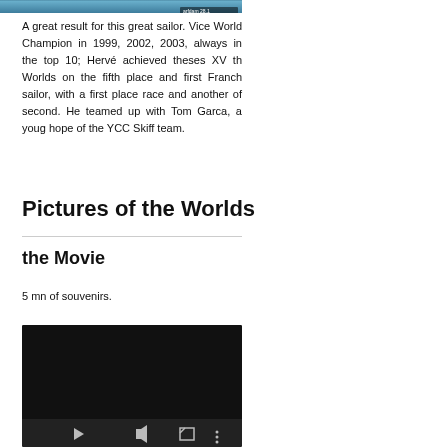[Figure (photo): Top portion of a sailing/water photo with overlay timestamp text]
A great result for this great sailor. Vice World Champion in 1999, 2002, 2003, always in the top 10; Hervé achieved theses XV th Worlds on the fifth place and first Franch sailor, with a first place race and another of second. He teamed up with Tom Garca, a youg hope of the YCC Skiff team.
Pictures of the Worlds
the Movie
5 mn of souvenirs.
[Figure (screenshot): Video player with dark background and playback controls (play, volume, fullscreen, more options)]